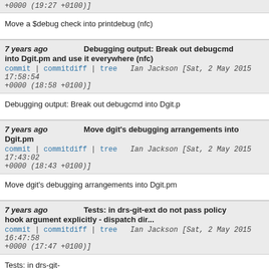+0000 (19:27 +0100)]
Move a $debug check into printdebug (nfc)
7 years ago   Debugging output: Break out debugcmd into Dgit.pm and use it everywhere (nfc)
commit | commitdiff | tree   Ian Jackson [Sat, 2 May 2015 17:58:54 +0000 (18:58 +0100)]
Debugging output: Break out debugcmd into Dgit.p
7 years ago   Move dgit's debugging arrangements into Dgit.pm
commit | commitdiff | tree   Ian Jackson [Sat, 2 May 2015 17:43:02 +0000 (18:43 +0100)]
Move dgit's debugging arrangements into Dgit.pm
7 years ago   Tests: in drs-git-ext do not pass policy hook argument explicitly - dispatch dir...
commit | commitdiff | tree   Ian Jackson [Sat, 2 May 2015 16:47:58 +0000 (17:47 +0100)]
Tests: in drs-git-
ext do not pass policy hook argument explicitly - d